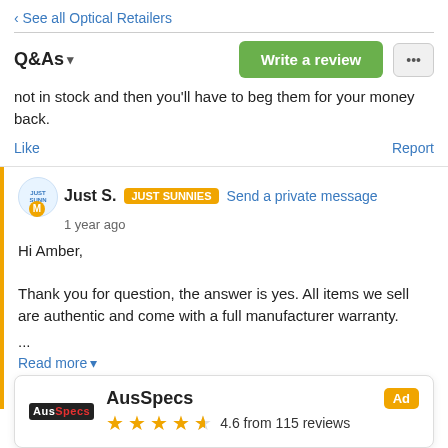‹ See all Optical Retailers
Q&As
not in stock and then you'll have to beg them for your money back.
Like  Report
Just S. JUST SUNNIES Send a private message
1 year ago
Hi Amber,

Thank you for question, the answer is yes. All items we sell are authentic and come with a full manufacturer warranty.
...
Read more
Like  Report
AusSpecs  Ad
★★★★½ 4.6 from 115 reviews